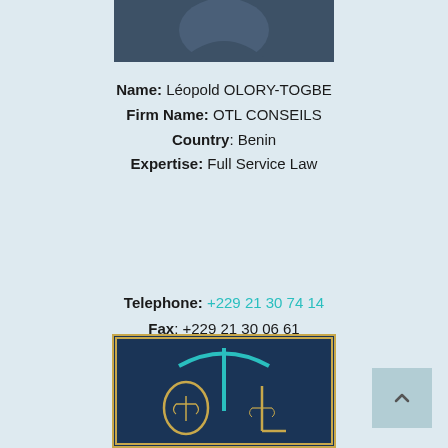[Figure (photo): Top portion of a person's photo, dark blue/grey background, cropped at top of page]
Name: Léopold OLORY-TOGBE
Firm Name: OTL CONSEILS
Country: Benin
Expertise: Full Service Law
Telephone: +229 21 30 74 14
Fax: +229 21 30 06 61
Email: contact@otlconseils.com
[Figure (logo): OTL Conseils logo: dark navy background with gold border, cyan arc and vertical line forming a T, gold letters O and L with scales of justice motifs]